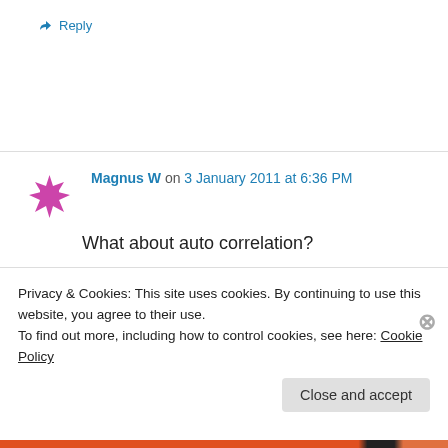↳ Reply
Magnus W on 3 January 2011 at 6:36 PM
What about auto correlation?
★ Like
↳ Reply
Privacy & Cookies: This site uses cookies. By continuing to use this website, you agree to their use.
To find out more, including how to control cookies, see here: Cookie Policy